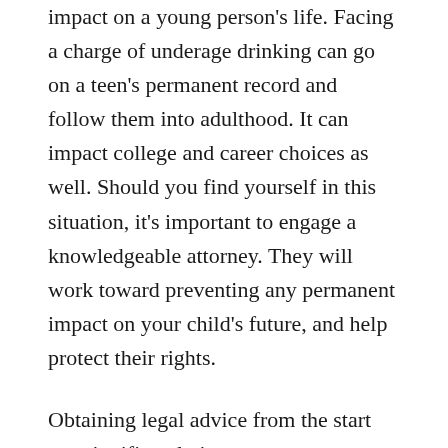impact on a young person's life. Facing a charge of underage drinking can go on a teen's permanent record and follow them into adulthood. It can impact college and career choices as well. Should you find yourself in this situation, it's important to engage a knowledgeable attorney. They will work toward preventing any permanent impact on your child's future, and help protect their rights.
Obtaining legal advice from the start can significantly impact your case, leading to the best possible outcome. Working with an attorney who has handled cases involving underage drinking helps ensure both you and your teen are prepared. It's important to know what rights and options you have as you move through your case, as well as